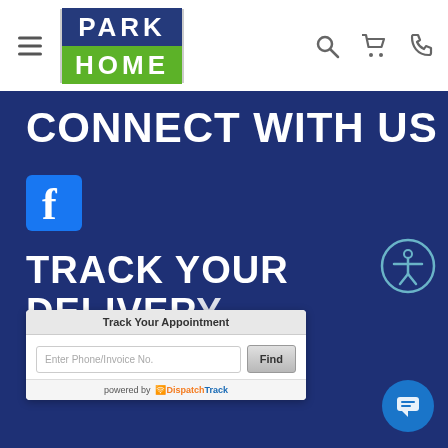[Figure (logo): Park Home logo with PARK in blue background and HOME in green background]
CONNECT WITH US
[Figure (logo): Facebook icon - blue square with white f]
TRACK YOUR DELIVERY
[Figure (screenshot): Track Your Appointment widget with phone/invoice input and Find button, powered by DispatchTrack]
[Figure (illustration): Chat bubble icon in blue circle]